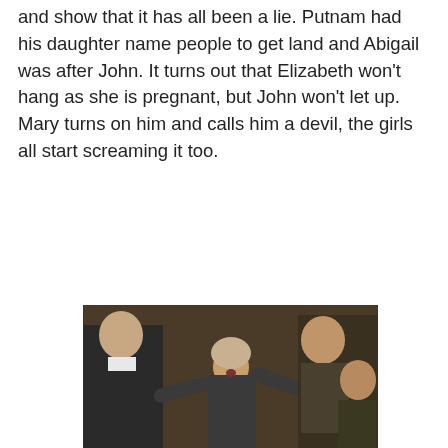and show that it has all been a lie. Putnam had his daughter name people to get land and Abigail was after John. It turns out that Elizabeth won't hang as she is pregnant, but John won't let up.  Mary turns on him and calls him a devil, the girls all start screaming it too.
[Figure (photo): A collage of movie stills from a courtroom scene, showing a woman in period costume with arms outstretched in the center, surrounded by multiple faces of young women wearing white bonnets, and men in colonial-era clothing, with a wide courtroom shot at the bottom.]